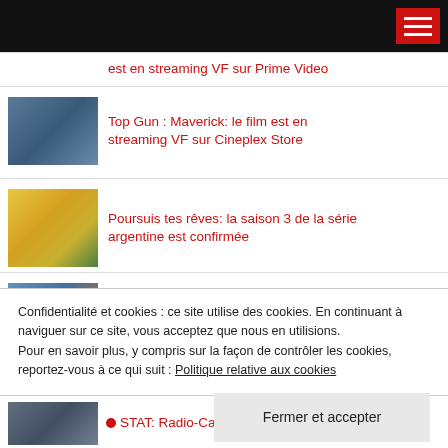[Figure (screenshot): Black navigation bar with hamburger menu icon (red background with white lines) in the top right corner]
est en streaming VF sur Prime Video
[Figure (photo): Thumbnail image for Top Gun Maverick article]
Top Gun : Maverick: le film est en streaming VF sur Cineplex Store
[Figure (photo): Thumbnail image for Poursuis tes rêves article]
Poursuis tes rêves: la saison 3 de la série argentine est confirmée
[Figure (photo): Thumbnail image for Uncharted article]
Uncharted: le film d'action est en streaming VF sur Cineplex Store
ARTICLES RÉCENTS
Confidentialité et cookies : ce site utilise des cookies. En continuant à naviguer sur ce site, vous acceptez que nous en utilisions.
Pour en savoir plus, y compris sur la façon de contrôler les cookies, reportez-vous à ce qui suit : Politique relative aux cookies
Fermer et accepter
STAT: Radio-Canada dévoile un